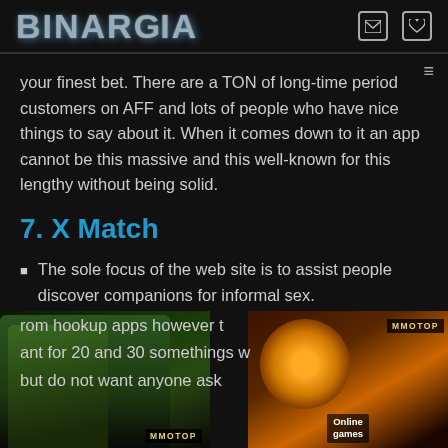BINARGIA
your finest bet. There are a TON of long-time period customers on AFF and lots of people who have nice things to say about it. When it comes down to it an app cannot be this massive and this well-known for this lengthy without being solid.
7. X Match
The sole focus of the web site is to assist people discover companions for informal sex.
rom hookup apps however t
ant for 20 and 30 somethings w
but do not want anyone ask
[Figure (screenshot): Gaming advertisement banner on the left showing an armored orc character with MMOTOP label]
[Figure (screenshot): Gaming advertisement banner on the right showing a lion with flames, Online Games and MMOTOP labels]